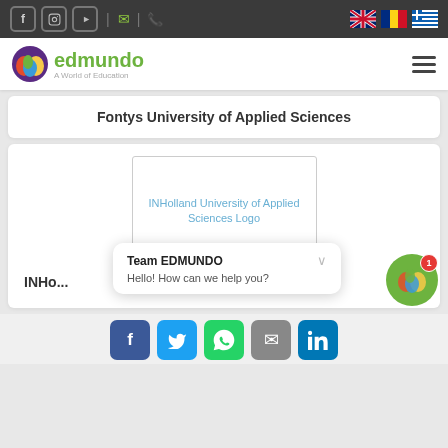edmundo - A World of Education — navigation bar with social icons and language flags
[Figure (logo): Edmundo logo — colorful apple icon with text 'edmundo' in green and tagline 'A World of Education']
Fontys University of Applied Sciences
[Figure (logo): INHolland University of Applied Sciences Logo — placeholder image]
INHo...
Team EDMUNDO
Hello! How can we help you?
[Figure (infographic): Edmundo chat widget FAB button with notification badge showing 1]
[Figure (infographic): Social share buttons: Facebook, Twitter, WhatsApp, Email, LinkedIn]